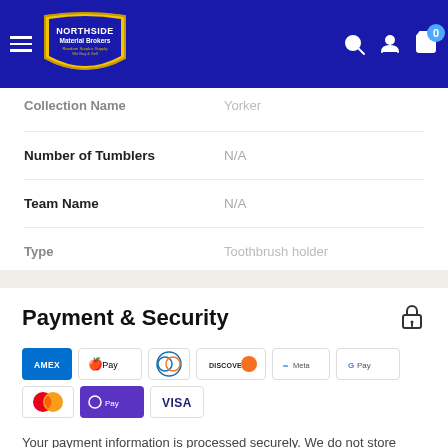[Figure (screenshot): Northside Material Brokers website navigation bar with logo, hamburger menu, search, account, and cart icons]
| Attribute | Value |
| --- | --- |
| Collection Name | Yorker |
| Number of Tumblers | N/A |
| Team Name | N/A |
| Type | Toothbrush holder |
Payment & Security
[Figure (infographic): Payment method icons: Amex, Apple Pay, Diners Club, Discover, Meta Pay, Google Pay, Mastercard, Shop Pay, Visa]
Your payment information is processed securely. We do not store credit card details nor have access to your credit card information.